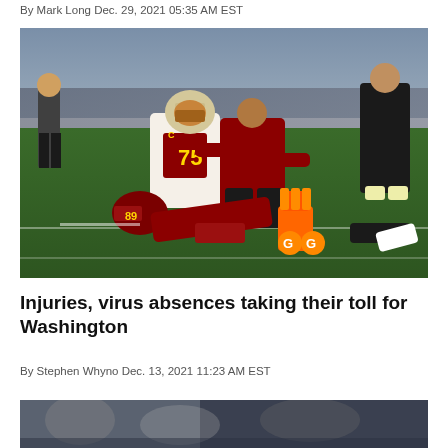By Mark Long Dec. 29, 2021 05:35 AM EST
[Figure (photo): Football player lying on the ground being attended to by medical staff, with a teammate in jersey number 75 looking on, on a grass field]
Injuries, virus absences taking their toll for Washington
By Stephen Whyno Dec. 13, 2021 11:23 AM EST
[Figure (photo): Partial view of another football-related photo at the bottom of the page]